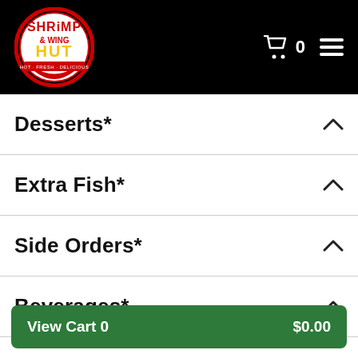[Figure (logo): Shrimp & Wing Hut logo — circular logo with red border, 'SHRIMP & WING HUT' text in red and yellow, 'HOT · FRESH · DELICIOUS' banner, on black header background]
Desserts*
Extra Fish*
Side Orders*
Beverages*
Party Wings*
View Cart 0   $0.00